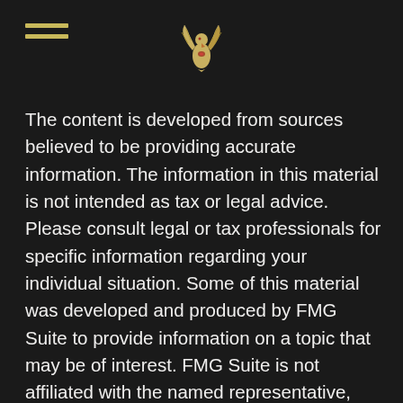[hamburger menu icon and eagle logo]
The content is developed from sources believed to be providing accurate information. The information in this material is not intended as tax or legal advice. Please consult legal or tax professionals for specific information regarding your individual situation. Some of this material was developed and produced by FMG Suite to provide information on a topic that may be of interest. FMG Suite is not affiliated with the named representative, broker - dealer, state - or SEC - registered investment advisory firm. The opinions expressed and material provided are for general information, and should not be considered a solicitation for the purchase or sale of any security.